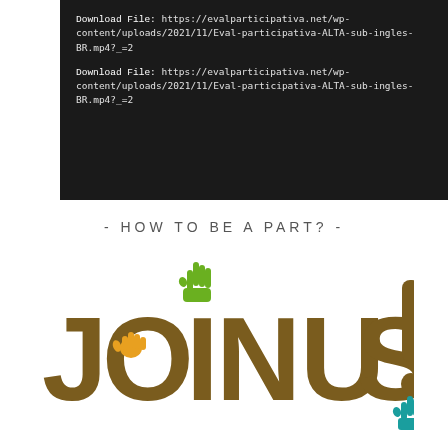Download File: https://evalparticipativa.net/wp-content/uploads/2021/11/Eval-participativa-ALTA-sub-ingles-BR.mp4?_=2
Download File: https://evalparticipativa.net/wp-content/uploads/2021/11/Eval-participativa-ALTA-sub-ingles-BR.mp4?_=2
- HOW TO BE A PART? -
[Figure (illustration): JOIN US! text rendered as large decorative brown letters with colorful hand/figure icons integrated into the letters. The letter I in JOIN has a green raised hand on top, the O in JOIN has an orange hand inside, and the exclamation mark has a teal/blue hand figure at its base.]